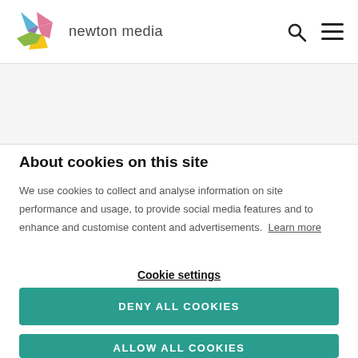[Figure (logo): Newton Media logo - colorful star/pinwheel shape with text 'newton media']
About cookies on this site
We use cookies to collect and analyse information on site performance and usage, to provide social media features and to enhance and customise content and advertisements. Learn more
Cookie settings
DENY ALL COOKIES
ALLOW ALL COOKIES